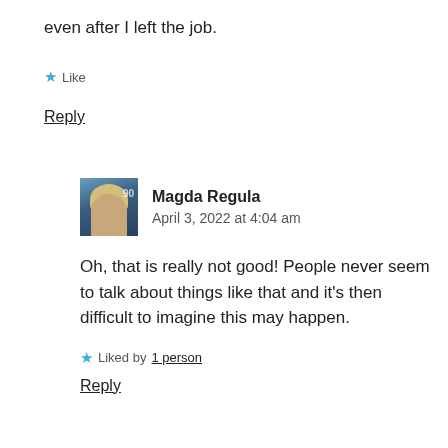even after I left the job.
★ Like
Reply
Magda Regula
April 3, 2022 at 4:04 am
Oh, that is really not good! People never seem to talk about things like that and it's then difficult to imagine this may happen.
★ Liked by 1 person
Reply